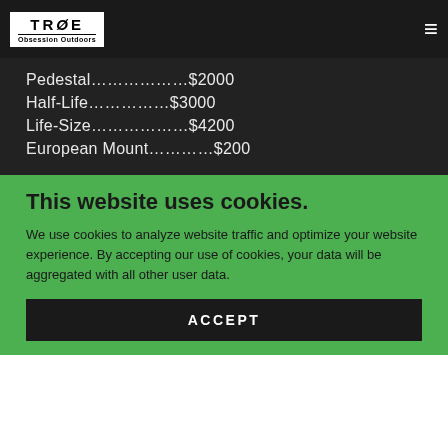[Figure (logo): TRUE Obsession Outdoors logo — white box with bold black text]
Pedestal.................  $2000
Half-Life.................  $3000
Life-Size.................  $4200
European Mount..............  $200
This website uses cookies.
We use cookies to analyze website traffic and optimize your website experience. By accepting our use of cookies, your data will be aggregated with all other user data.
ACCEPT